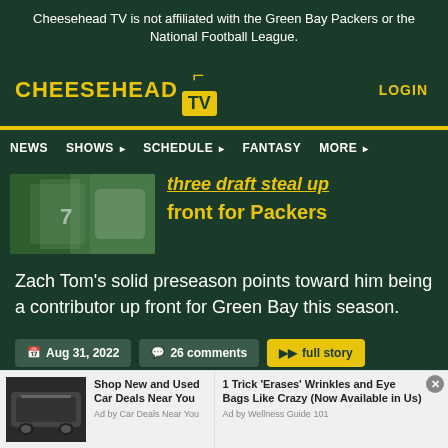Cheesehead TV is not affiliated with the Green Bay Packers or the National Football League.
[Figure (logo): Cheesehead TV logo with yellow text and TV icon on dark green background]
LOGIN
NEWS  SHOWS  SCHEDULE  FANTASY  MORE
[Figure (photo): Green Bay Packers player in uniform, close-up on jersey/torso area]
three draft steal up front for Packers
Zach Tom's solid preseason points toward him being a contributor up front for Green Bay this season.
Aug 31, 2022   26 comments   full story
[Figure (photo): Advertisement showing an SUV/truck vehicle]
Shop New and Used Car Deals Near You
Ad by Car Deals Near You
1 Trick 'Erases' Wrinkles and Eye Bags Like Crazy (Now Available in Us)
Ad by Wellness Guide 101